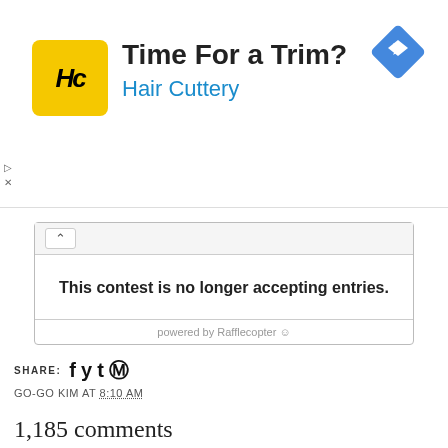[Figure (other): Hair Cuttery advertisement banner with yellow logo, text 'Time For a Trim?' and 'Hair Cuttery' in blue, and a blue diamond navigation icon]
[Figure (screenshot): Rafflecopter widget showing 'This contest is no longer accepting entries.' with 'powered by Rafflecopter' footer]
SHARE: f y t p
GO-GO KIM AT 8:10 AM
1,185 comments